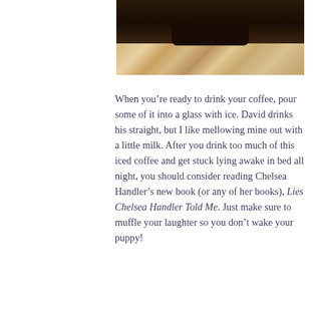[Figure (photo): Photo of a dark mug/cup on a granite countertop, viewed from above, with stone surface visible]
When you're ready to drink your coffee, pour some of it into a glass with ice. David drinks his straight, but I like mellowing mine out with a little milk. After you drink too much of this iced coffee and get stuck lying awake in bed all night, you should consider reading Chelsea Handler's new book (or any of her books), Lies Chelsea Handler Told Me. Just make sure to muffle your laughter so you don't wake your puppy!